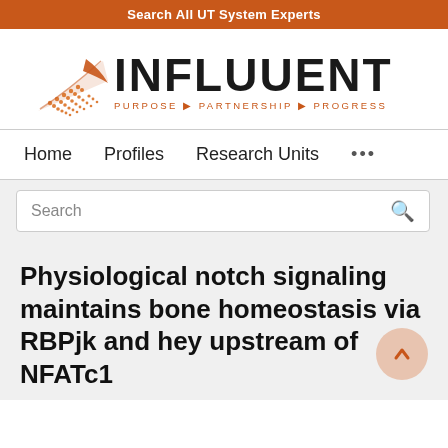Search All UT System Experts
[Figure (logo): Influuent logo with orange geometric triangular/arrow shape and text INFLUUENT with tagline PURPOSE ► PARTNERSHIP ► PROGRESS]
Home   Profiles   Research Units   ...
Search
Physiological notch signaling maintains bone homeostasis via RBPjk and hey upstream of NFATc1